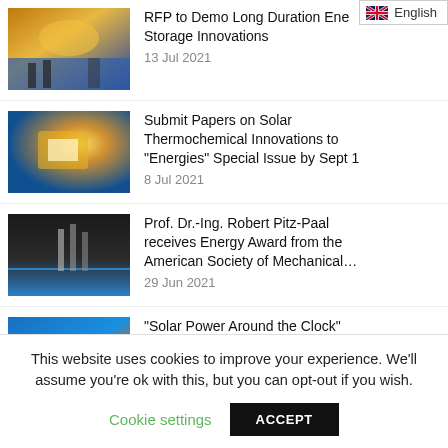[Figure (screenshot): Language selector button showing UK flag and 'English' text in top right corner]
RFP to Demo Long Duration Energy Storage Innovations
13 Jul 2021
Submit Papers on Solar Thermochemical Innovations to "Energies" Special Issue by Sept 1
8 Jul 2021
Prof. Dr.-Ing. Robert Pitz-Paal receives Energy Award from the American Society of Mechanical…
29 Jun 2021
"Solar Power Around the Clock" report released by the German Association for Concentrated Sola…
22 Jun 2021
This website uses cookies to improve your experience. We'll assume you're ok with this, but you can opt-out if you wish.
Cookie settings   ACCEPT